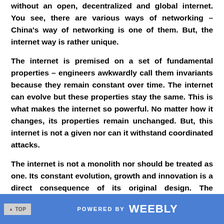without an open, decentralized and global internet. You see, there are various ways of networking – China's way of networking is one of them. But, the internet way is rather unique.
The internet is premised on a set of fundamental properties – engineers awkwardly call them invariants because they remain constant over time. The internet can evolve but these properties stay the same. This is what makes the internet so powerful. No matter how it changes, its properties remain unchanged. But, this internet is not a given nor can it withstand coordinated attacks.
The internet is not a monolith nor should be treated as one. Its constant evolution, growth and innovation is a direct consequence of its original design. The internet's properties are a mix of aspirational goals and pragmatic design choices and are significant because without them none of the goals listed in the Declaration can be materialized.
▲ TOP   POWERED BY weebly